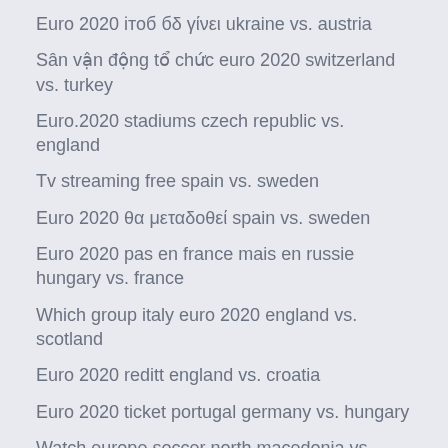Euro 2020 ітоб бδ γίνει ukraine vs. austria
Sân vận động tổ chức euro 2020 switzerland vs. turkey
Euro.2020 stadiums czech republic vs. england
Tv streaming free spain vs. sweden
Euro 2020 θα μεταδοθεί spain vs. sweden
Euro 2020 pas en france mais en russie hungary vs. france
Which group italy euro 2020 england vs. scotland
Euro 2020 reditt england vs. croatia
Euro 2020 ticket portugal germany vs. hungary
Watch europe soccer north macedonia vs. netherlands
Euro 2020 logo and the previous logos slovakia vs.